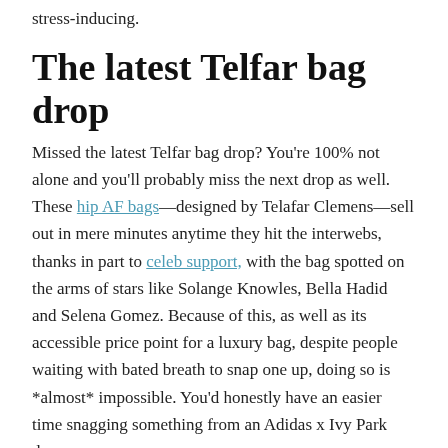stress-inducing.
The latest Telfar bag drop
Missed the latest Telfar bag drop? You're 100% not alone and you'll probably miss the next drop as well. These hip AF bags—designed by Telafar Clemens—sell out in mere minutes anytime they hit the interwebs, thanks in part to celeb support, with the bag spotted on the arms of stars like Solange Knowles, Bella Hadid and Selena Gomez. Because of this, as well as its accessible price point for a luxury bag, despite people waiting with bated breath to snap one up, doing so is *almost* impossible. You'd honestly have an easier time snagging something from an Adidas x Ivy Park drop.
In early November, Oprah co-signed the popularity of the bag, adding it to her 2020 Oprah's Favorite Things holiday